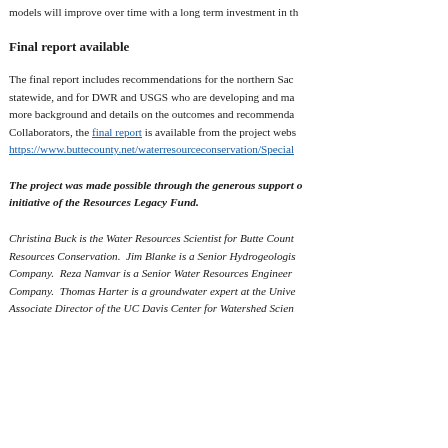models will improve over time with a long term investment in th
Final report available
The final report includes recommendations for the northern Sac statewide, and for DWR and USGS who are developing and ma more background and details on the outcomes and recommenda Collaborators, the final report is available from the project webs https://www.buttecounty.net/waterresourceconservation/Special
The project was made possible through the generous support o initiative of the Resources Legacy Fund.
Christina Buck is the Water Resources Scientist for Butte Count Resources Conservation.  Jim Blanke is a Senior Hydrogeologis Company.  Reza Namvar is a Senior Water Resources Engineer Company.  Thomas Harter is a groundwater expert at the Unive Associate Director of the UC Davis Center for Watershed Scien